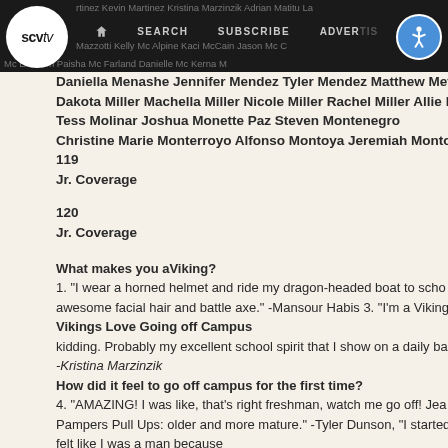scvtv — SEARCH SUBSCRIBE ADVERTISE — rtinez Kevin Martinez Kristina Marzinzik Adrian Matitu La... Mazzotti Kelly Mc Alpine Kaci McCain Jason Mc C... Mc Elhatton Paisha Mc Farland Danielle Mc Kerna...
Daniella Menashe Jennifer Mendez Tyler Mendez Matthew Metz Br...
Dakota Miller Machella Miller Nicole Miller Rachel Miller Allie Mills...
Tess Molinar Joshua Monette Paz Steven Montenegro
Christine Marie Monterroyo Alfonso Montoya Jeremiah Montoya Iya...
119
Jr. Coverage
120
Jr. Coverage
What makes you aViking?
1. "I wear a horned helmet and ride my dragon-headed boat to scho... awesome facial hair and battle axe." -Mansour Habis 3. "I'm a Viking... Vikings Love Going off Campus kidding. Probably my excellent school spirit that I show on a daily ba... -Kristina Marzinzik
How did it feel to go off campus for the first time?
4. "AMAZING! I was like, that's right freshman, watch me go off! Jea... Pampers Pull Ups: older and more mature." -Tyler Dunson, "I started felt like I was a man because
somewhere between approaching the gate and going through it. I t...